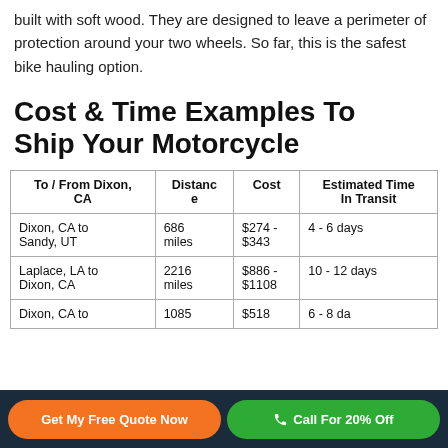built with soft wood. They are designed to leave a perimeter of protection around your two wheels. So far, this is the safest bike hauling option.
Cost & Time Examples To Ship Your Motorcycle
| To / From Dixon, CA | Distance | Cost | Estimated Time In Transit |
| --- | --- | --- | --- |
| Dixon, CA to Sandy, UT | 686 miles | $274 - $343 | 4 - 6 days |
| Laplace, LA to Dixon, CA | 2216 miles | $886 - $1108 | 10 - 12 days |
| Dixon, CA to ... | 1085 ... | $518 ... | 6 - 8 days ... |